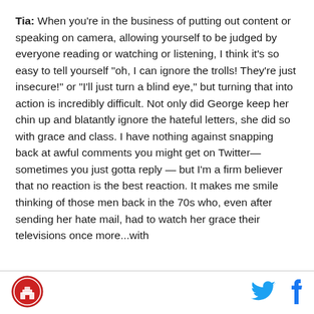Tia: When you're in the business of putting out content or speaking on camera, allowing yourself to be judged by everyone reading or watching or listening, I think it's so easy to tell yourself "oh, I can ignore the trolls! They're just insecure!" or "I'll just turn a blind eye," but turning that into action is incredibly difficult. Not only did George keep her chin up and blatantly ignore the hateful letters, she did so with grace and class. I have nothing against snapping back at awful comments you might get on Twitter— sometimes you just gotta reply — but I'm a firm believer that no reaction is the best reaction. It makes me smile thinking of those men back in the 70s who, even after sending her hate mail, had to watch her grace their televisions once more...with
[Figure (logo): Circular logo with building/campus illustration]
[Figure (logo): Twitter bird icon in cyan blue]
[Figure (logo): Facebook f icon in blue]